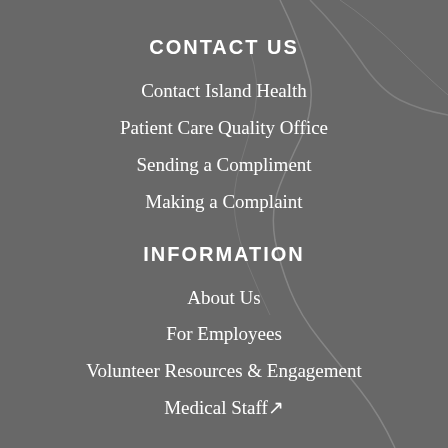CONTACT US
Contact Island Health
Patient Care Quality Office
Sending a Compliment
Making a Complaint
INFORMATION
About Us
For Employees
Volunteer Resources & Engagement
Medical Staff ↗